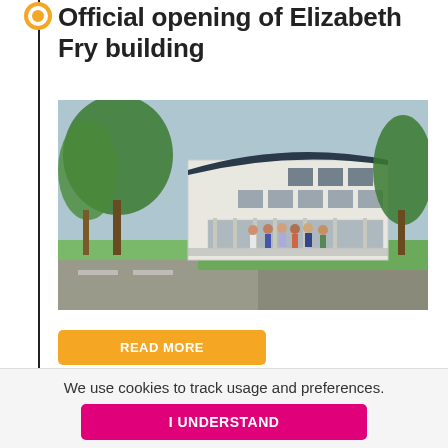Official opening of Elizabeth Fry building
[Figure (photo): Exterior photograph of the Elizabeth Fry building on a university campus, showing a modern white multi-story building with curved roof, large windows, groups of people standing outside on a sunny day, surrounded by trees and grass]
READ MORE
We use cookies to track usage and preferences.
I UNDERSTAND